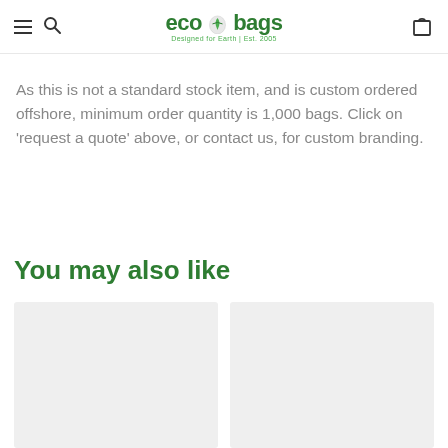ecobags — Designed for Earth | Est. 2005
As this is not a standard stock item, and is custom ordered offshore, minimum order quantity is 1,000 bags. Click on 'request a quote' above, or contact us, for custom branding.
You may also like
[Figure (photo): Two product placeholder image cards shown as light grey rectangles in a 'You may also like' product grid.]